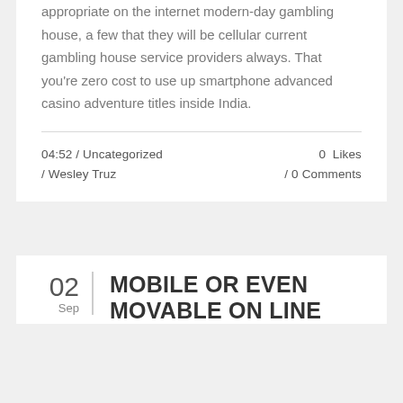appropriate on the internet modern-day gambling house, a few that they will be cellular current gambling house service providers always. That you're zero cost to use up smartphone advanced casino adventure titles inside India.
04:52 / Uncategorized / Wesley Truz    0 Likes / 0 Comments
02 Sep
MOBILE OR EVEN MOVABLE ON LINE